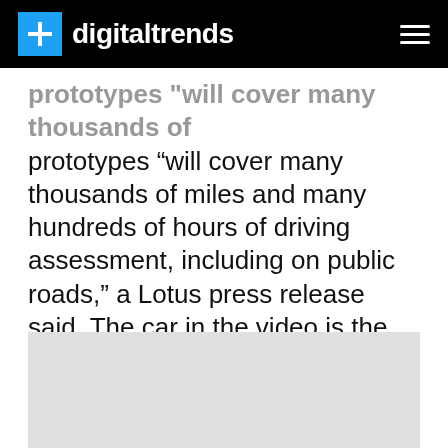digitaltrends
prototypes “will cover many thousands of miles and many hundreds of hours of driving assessment, including on public roads,” a Lotus press release said. The car in the video is the second Evija prototype, according to Lotus.
[Figure (photo): Gray placeholder image area at the bottom of the page]